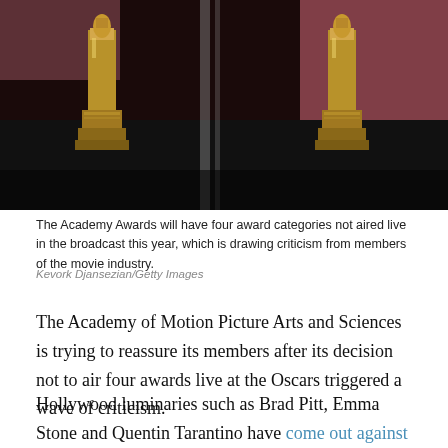[Figure (photo): Close-up photo of Oscar statuettes on a dark background with pink/red reflective backdrop, showing the gold figures and their bases.]
The Academy Awards will have four award categories not aired live in the broadcast this year, which is drawing criticism from members of the movie industry.
Kevork Djansezian/Getty Images
The Academy of Motion Picture Arts and Sciences is trying to reassure its members after its decision not to air four awards live at the Oscars triggered a wave of criticism.
Hollywood luminaries such as Brad Pitt, Emma Stone and Quentin Tarantino have come out against the decision to limit the broadcast of awards for Best Cinematography, Film